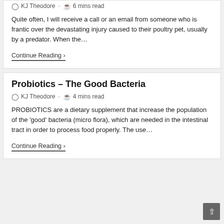KJ Theodore · 6 mins read
Quite often, I will receive a call or an email from someone who is frantic over the devastating injury caused to their poultry pet, usually by a predator. When the…
Continue Reading ›
Probiotics – The Good Bacteria
KJ Theodore · 4 mins read
PROBIOTICS are a dietary supplement that increase the population of the 'good' bacteria (micro flora), which are needed in the intestinal tract in order to process food properly. The use…
Continue Reading ›